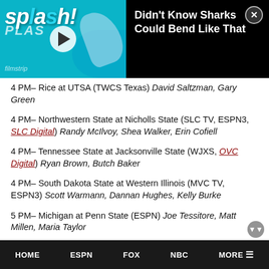[Figure (screenshot): Video thumbnail showing a shark/aquatic scene with play button and title 'Didn't Know Sharks Could Bend Like That' with close button on black background]
4 PM– Rice at UTSA (TWCS Texas) David Saltzman, Gary Green
4 PM– Northwestern State at Nicholls State (SLC TV, ESPN3, SLC Digital) Randy McIlvoy, Shea Walker, Erin Cofiell
4 PM– Tennessee State at Jacksonville State (WJXS, OVC Digital) Ryan Brown, Butch Baker
4 PM– South Dakota State at Western Illinois (MVC TV, ESPN3) Scott Warmann, Dannan Hughes, Kelly Burke
5 PM– Michigan at Penn State (ESPN) Joe Tessitore, Matt Millen, Maria Taylor
HOME   ESPN   FOX   NBC   MORE